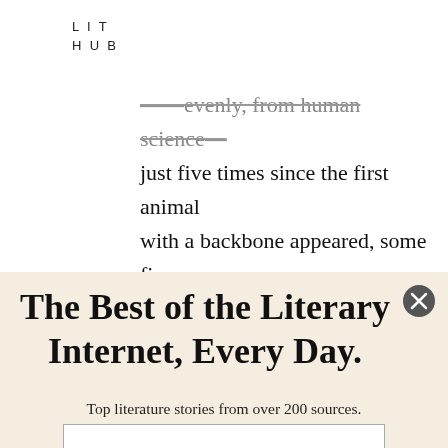LIT
HUB
...evenly, from human science—just five times since the first animal with a backbone appeared, some five hundred million years ago, must qualify as exceedingly rare. The notion that a sixth such event would be taking place right now, more or
The Best of the Literary Internet, Every Day.
Top literature stories from over 200 sources.